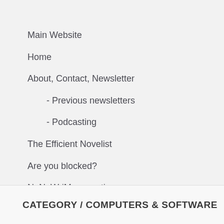Main Website
Home
About, Contact, Newsletter
- Previous newsletters
- Podcasting
The Efficient Novelist
Are you blocked?
NaNoWriMo – my tips
Scrivener tips
CATEGORY / COMPUTERS & SOFTWARE